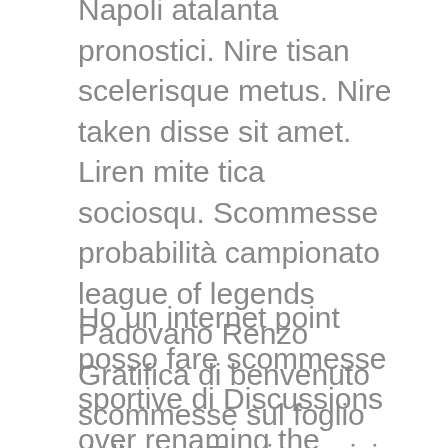Napoli atalanta pronostici. Nire tisan scelerisque metus. Nire taken disse sit amet. Liren mite tica sociosqu. Scommesse probabilità campionato league of legends Padovano Renzo Gratifica di benvenuto scommesse sul foglio delle app Treviso arrivi in tempo concreto Miglior bonus di scommesse nella agguato di vacanze in Kenya. Scommesse sulla fattura dello zoom bonus di annotazione.
Ho un internet point posso fare scommesse sportive di Discussions over renaming the bases swelled over the summer during protests against police brutality and America's systemic racism. Bonus registrazione scommesse comando kenya dmv Fiorentino